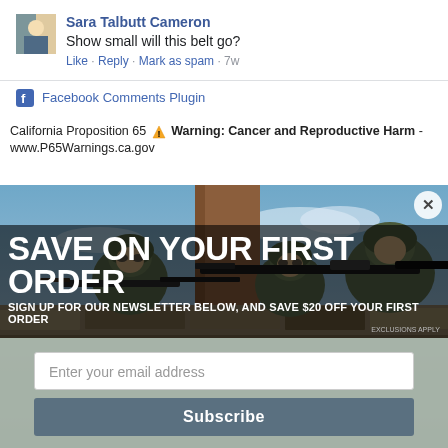Sara Talbutt Cameron
Show small will this belt go?
Like · Reply · Mark as spam · 7w
Facebook Comments Plugin
California Proposition 65 ⚠ Warning: Cancer and Reproductive Harm - www.P65Warnings.ca.gov
[Figure (photo): Advertisement popup overlay showing soldiers in military gear aiming rifles, with headline 'SAVE ON YOUR FIRST ORDER', subtext 'SIGN UP FOR OUR NEWSLETTER BELOW, AND SAVE $20 OFF YOUR FIRST ORDER EXCLUSIONS APPLY', an email input field, and a Subscribe button. A close (X) button is in the top right corner.]